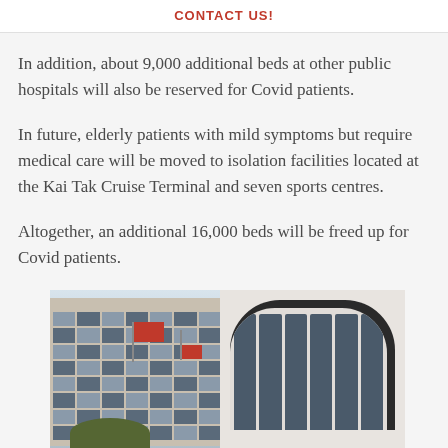CONTACT US!
In addition, about 9,000 additional beds at other public hospitals will also be reserved for Covid patients.
In future, elderly patients with mild symptoms but require medical care will be moved to isolation facilities located at the Kai Tak Cruise Terminal and seven sports centres.
Altogether, an additional 16,000 beds will be freed up for Covid patients.
[Figure (photo): Exterior photograph of a hospital building complex showing a multi-storey building on the left with grid windows and a red Hong Kong flag flying, and a modern curved arch-windowed building on the right, with trees in the foreground.]